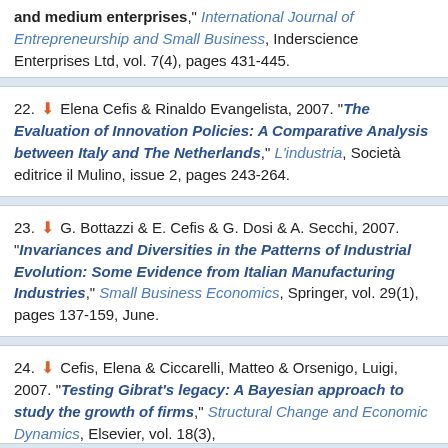and medium enterprises," International Journal of Entrepreneurship and Small Business, Inderscience Enterprises Ltd, vol. 7(4), pages 431-445.
22. Elena Cefis & Rinaldo Evangelista, 2007. "The Evaluation of Innovation Policies: A Comparative Analysis between Italy and The Netherlands," L'industria, Società editrice il Mulino, issue 2, pages 243-264.
23. G. Bottazzi & E. Cefis & G. Dosi & A. Secchi, 2007. "Invariances and Diversities in the Patterns of Industrial Evolution: Some Evidence from Italian Manufacturing Industries," Small Business Economics, Springer, vol. 29(1), pages 137-159, June.
24. Cefis, Elena & Ciccarelli, Matteo & Orsenigo, Luigi, 2007. "Testing Gibrat's legacy: A Bayesian approach to study the growth of firms," Structural Change and Economic Dynamics, Elsevier, vol. 18(3), pages 348-369, September.